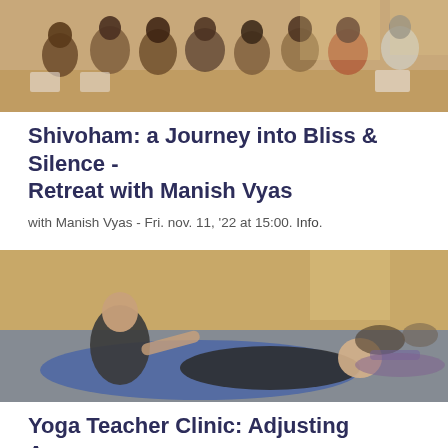[Figure (photo): Group of people seated in a classroom or lecture hall setting, viewed from the front, some holding papers or books.]
Shivoham: a Journey into Bliss & Silence - Retreat with Manish Vyas
with Manish Vyas - Fri. nov. 11, '22 at 15:00. Info.
[Figure (photo): A yoga teacher assisting a student lying on a blue mat in a yoga class, with other students visible in the background.]
Yoga Teacher Clinic: Adjusting Asana